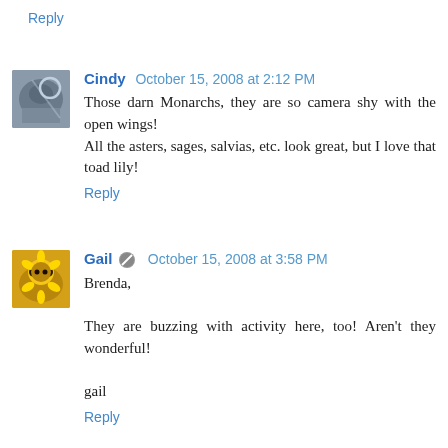Reply
Cindy  October 15, 2008 at 2:12 PM
Those darn Monarchs, they are so camera shy with the open wings!
All the asters, sages, salvias, etc. look great, but I love that toad lily!
Reply
Gail  October 15, 2008 at 3:58 PM
Brenda,

They are buzzing with activity here, too! Aren't they wonderful!

gail
Reply